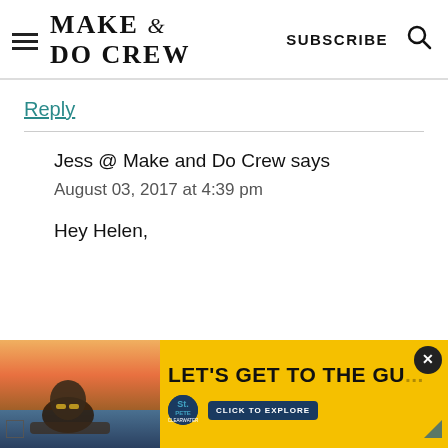[Figure (logo): Make and Do Crew logo with hamburger menu icon]
Reply
Jess @ Make and Do Crew says
August 03, 2017 at 4:39 pm
Hey Helen,
[Figure (photo): Advertisement banner: Woman with sunglasses at pool/beach at sunset. Yellow background with text LET'S GET TO THE GU... and St. Pete Clearwater logo with CLICK TO EXPLORE button]